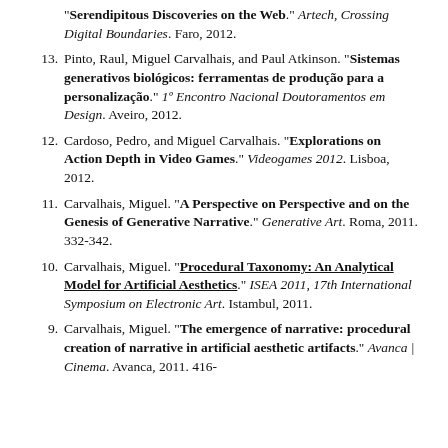[continuation] "Serendipitous Discoveries on the Web." Artech, Crossing Digital Boundaries. Faro, 2012.
13. Pinto, Raul, Miguel Carvalhais, and Paul Atkinson. "Sistemas generativos biológicos: ferramentas de produção para a personalização." 1º Encontro Nacional Doutoramentos em Design. Aveiro, 2012.
12. Cardoso, Pedro, and Miguel Carvalhais. "Explorations on Action Depth in Video Games." Videogames 2012. Lisboa, 2012.
11. Carvalhais, Miguel. "A Perspective on Perspective and on the Genesis of Generative Narrative." Generative Art. Roma, 2011. 332-342.
10. Carvalhais, Miguel. "Procedural Taxonomy: An Analytical Model for Artificial Aesthetics." ISEA 2011, 17th International Symposium on Electronic Art. Istambul, 2011.
9. Carvalhais, Miguel. "The emergence of narrative: procedural creation of narrative in artificial aesthetic artifacts." Avanca | Cinema. Avanca, 2011. 416-